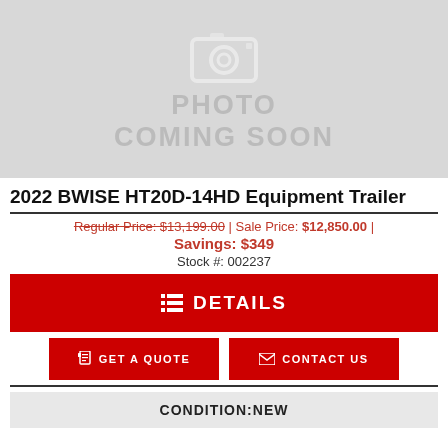[Figure (photo): Photo placeholder with camera icon and text 'PHOTO COMING SOON' on grey background]
2022 BWISE HT20D-14HD Equipment Trailer
Regular Price: $13,199.00 | Sale Price: $12,850.00 | Savings: $349
Stock #: 002237
DETAILS
GET A QUOTE
CONTACT US
CONDITION: NEW